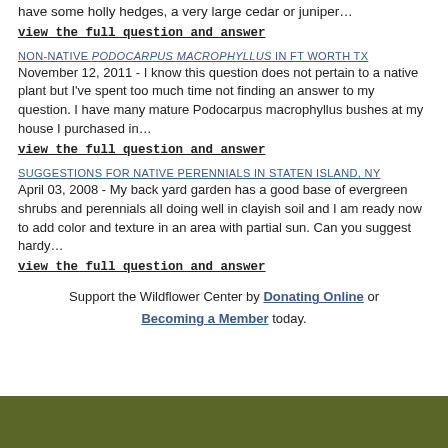have some holly hedges, a very large cedar or juniper…
view the full question and answer
NON-NATIVE PODOCARPUS MACROPHYLLUS IN FT WORTH TX
November 12, 2011 - I know this question does not pertain to a native plant but I've spent too much time not finding an answer to my question. I have many mature Podocarpus macrophyllus bushes at my house I purchased in…
view the full question and answer
SUGGESTIONS FOR NATIVE PERENNIALS IN STATEN ISLAND, NY
April 03, 2008 - My back yard garden has a good base of evergreen shrubs and perennials all doing well in clayish soil and I am ready now to add color and texture in an area with partial sun. Can you suggest hardy…
view the full question and answer
Support the Wildflower Center by Donating Online or Becoming a Member today.